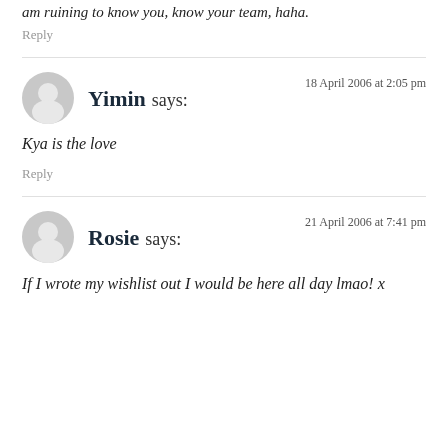am ruining to know you, know your team, haha.
Reply
Yimin says:
18 April 2006 at 2:05 pm
Kya is the love
Reply
Rosie says:
21 April 2006 at 7:41 pm
If I wrote my wishlist out I would be here all day lmao! x